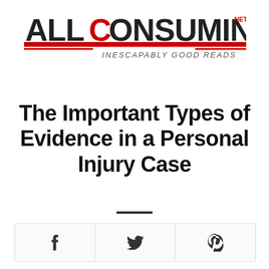[Figure (logo): AllConsuming.net logo with red and dark grey lettering and tagline 'INESCAPABLY GOOD READS']
The Important Types of Evidence in a Personal Injury Case
[Figure (infographic): Social sharing buttons: Facebook (f), Twitter (bird), Pinterest (P)]